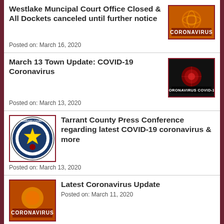Westlake Muncipal Court Office Closed & All Dockets canceled until further notice
Posted on: March 16, 2020
[Figure (photo): Coronavirus image with orange background and text CORONAVIRUS]
March 13 Town Update: COVID-19 Coronavirus
Posted on: March 13, 2020
[Figure (photo): Dark image with coronavirus cell and text CORONAVIRUS COVID-19]
[Figure (logo): Tarrant County seal/logo]
Tarrant County Press Conference regarding latest COVID-19 coronavirus & more
Posted on: March 13, 2020
[Figure (photo): Coronavirus image with orange glow and text CORONAVIRUS]
Latest Coronavirus Update
Posted on: March 11, 2020
[Figure (photo): Road/street photo in Westlake]
Capital Improvement Road Projects Set to Begin in Westlake
Posted on: March 11, 2020